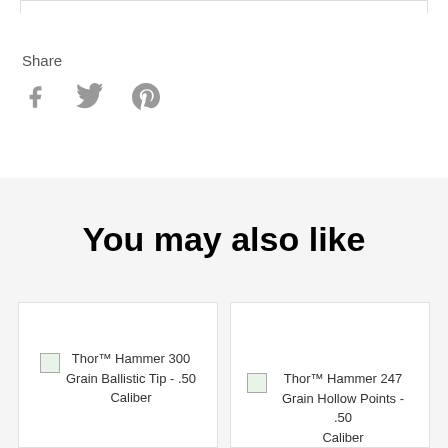Share
[Figure (illustration): Social media share icons: Facebook (f), Twitter (bird), Pinterest (P)]
You may also like
[Figure (photo): Thor™ Hammer 300 Grain Ballistic Tip - .50 Caliber product image placeholder]
[Figure (photo): Thor™ Hammer 247 Grain Hollow Points - .50 Caliber product image placeholder]